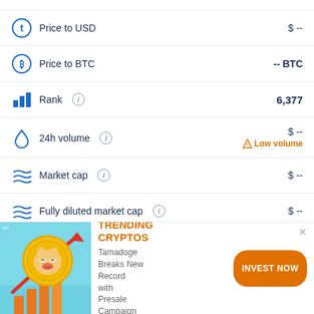Price to USD: $ --
Price to BTC: -- BTC
Rank: 6,377
24h volume: $ -- (Low volume)
Market cap: $ --
Fully diluted market cap: $ --
[Figure (infographic): Advertisement banner for Tamadoge cryptocurrency with trending cryptos image (Shiba Inu dog coin with upward arrow and bar chart), text 'Tamadoge Breaks New Record with Presale Campaign', orange INVEST NOW button]